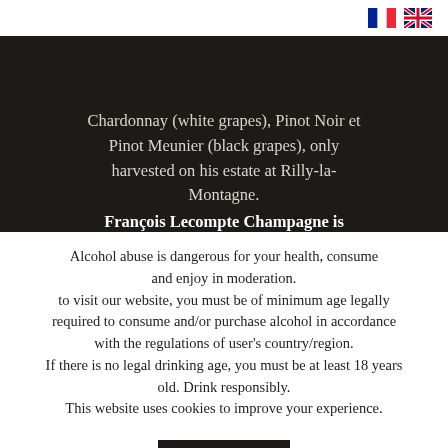[Figure (illustration): French flag icon in top right area]
[Figure (illustration): UK flag icon in top right area]
Chardonnay (white grapes), Pinot Noir et Pinot Meunier (black grapes), only harvested on his estate at Rilly-la-Montagne.
François Lecompte Champagne is
Alcohol abuse is dangerous for your health, consume and enjoy in moderation.
to visit our website, you must be of minimum age legally required to consume and/or purchase alcohol in accordance with the regulations of user's country/region.
If there is no legal drinking age, you must be at least 18 years old. Drink responsibly.
This website uses cookies to improve your experience.
ACCEPT